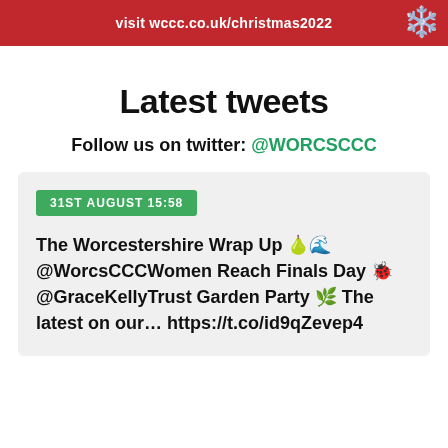visit wccc.co.uk/christmas2022
Latest tweets
Follow us on twitter: @WORCSCCC
31ST AUGUST 15:58
The Worcestershire Wrap Up 🍐🌊 @WorcsCCCWomen Reach Finals Day 🐞 @GraceKellyTrust Garden Party 🌿 The latest on our… https://t.co/id9qZevep4